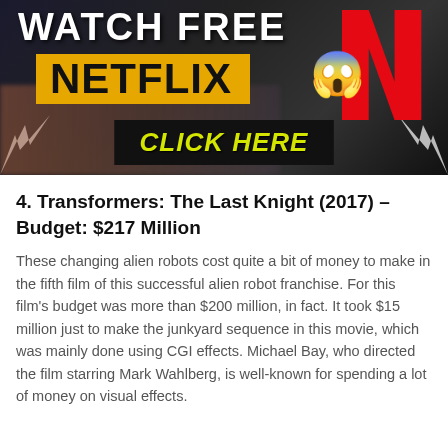[Figure (infographic): Promotional banner for a Netflix free watch offer. Dark background with 'WATCH FREE' text at top, a yellow rectangle with 'NETFLIX' in bold black text, a shocked face emoji, the Netflix red 'N' logo on the right, and a 'CLICK HERE' button in yellow text at the bottom.]
4. Transformers: The Last Knight (2017) – Budget: $217 Million
These changing alien robots cost quite a bit of money to make in the fifth film of this successful alien robot franchise. For this film's budget was more than $200 million, in fact. It took $15 million just to make the junkyard sequence in this movie, which was mainly done using CGI effects. Michael Bay, who directed the film starring Mark Wahlberg, is well-known for spending a lot of money on visual effects.